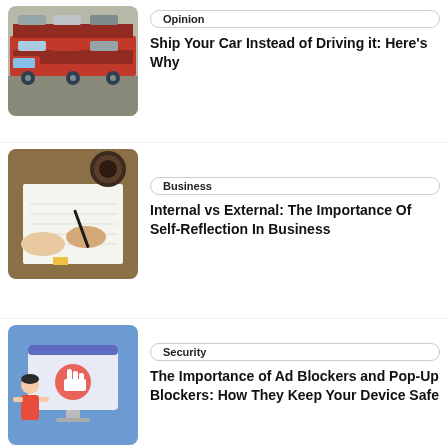[Figure (photo): Red car carrier truck loaded with multiple cars on a parking lot]
Opinion
Ship Your Car Instead of Driving it: Here’s Why
[Figure (photo): Overhead view of a person writing in a notebook on a wooden desk with a coffee cup]
Business
Internal vs External: The Importance Of Self-Reflection In Business
[Figure (illustration): Illustration of a person sitting at a computer with a warning/stop symbol on screen, blue background]
Security
The Importance of Ad Blockers and Pop-Up Blockers: How They Keep Your Device Safe